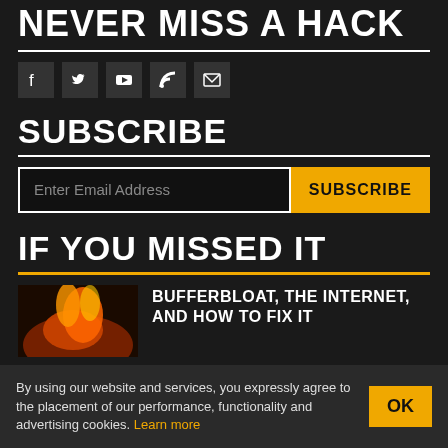NEVER MISS A HACK
[Figure (other): Social media icons: Facebook, Twitter, YouTube, RSS, Email]
SUBSCRIBE
Enter Email Address  SUBSCRIBE
IF YOU MISSED IT
BUFFERBLOAT, THE INTERNET, AND HOW TO FIX IT
By using our website and services, you expressly agree to the placement of our performance, functionality and advertising cookies. Learn more  OK